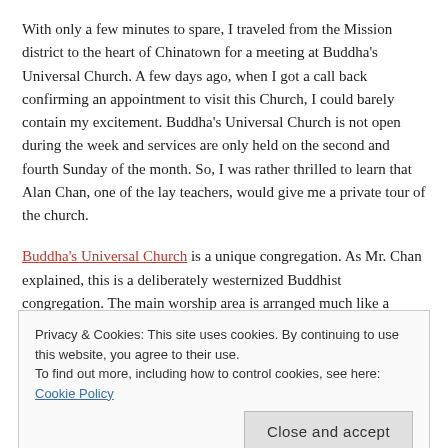With only a few minutes to spare, I traveled from the Mission district to the heart of Chinatown for a meeting at Buddha's Universal Church. A few days ago, when I got a call back confirming an appointment to visit this Church, I could barely contain my excitement. Buddha's Universal Church is not open during the week and services are only held on the second and fourth Sunday of the month. So, I was rather thrilled to learn that Alan Chan, one of the lay teachers, would give me a private tour of the church.
Buddha's Universal Church is a unique congregation. As Mr. Chan explained, this is a deliberately westernized Buddhist congregation. The main worship area is arranged much like a contemporary Christian church. Instead of meditation cushions on the floor, there
Privacy & Cookies: This site uses cookies. By continuing to use this website, you agree to their use.
To find out more, including how to control cookies, see here: Cookie Policy
Close and accept
Buddha as well as other symbols of Buddhism such as lotus flowers